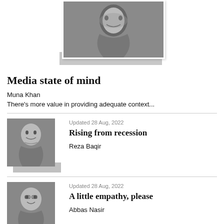[Figure (photo): Black and white photo of a woman (Muna Khan) at the top of the page]
Media state of mind
Muna Khan
There's more value in providing adequate context...
[Figure (photo): Black and white photo of a man in a suit (Reza Baqir)]
Updated 28 Aug, 2022
Rising from recession
Reza Baqir
[Figure (photo): Black and white photo of a man with glasses (Abbas Nasir)]
Updated 28 Aug, 2022
A little empathy, please
Abbas Nasir